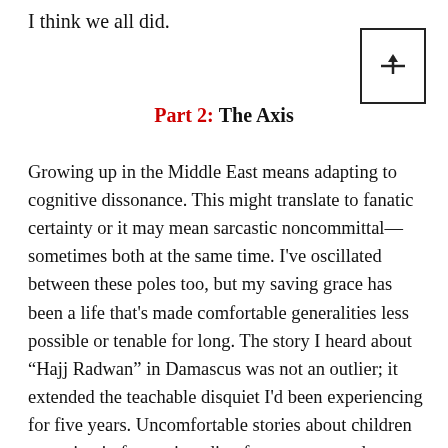I think we all did.
[Figure (other): Bookmark icon — small rectangle with a horizontal line and an upward arrow inside]
Part 2: The Axis
Growing up in the Middle East means adapting to cognitive dissonance. This might translate to fanatic certainty or it may mean sarcastic noncommittal—sometimes both at the same time. I've oscillated between these poles too, but my saving grace has been a life that's made comfortable generalities less possible or tenable for long. The story I heard about “Hajj Radwan” in Damascus was not an outlier; it extended the teachable disquiet I'd been experiencing for five years. Uncomfortable stories about children cowering in fear as invading forces attempted a massacre—“that's why I'm with the General!” Surprising stories of allegiance to religious militants from nihilist metalheads who would surely be called deviants back home—“I don't agree with their beliefs but I respect the Resistance!” I was lucky to be discombobulated. My decisions were tested by